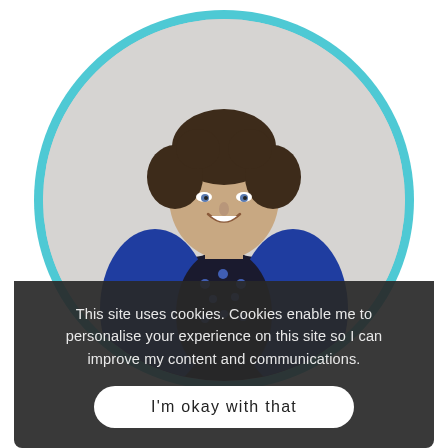[Figure (photo): A smiling woman with curly dark hair, wearing a blue cardigan over a dark dotted top, seated, photographed against a light grey background. The photo is displayed inside a circular frame with a teal/cyan border.]
This site uses cookies. Cookies enable me to personalise your experience on this site so I can improve my content and communications.
I'm okay with that